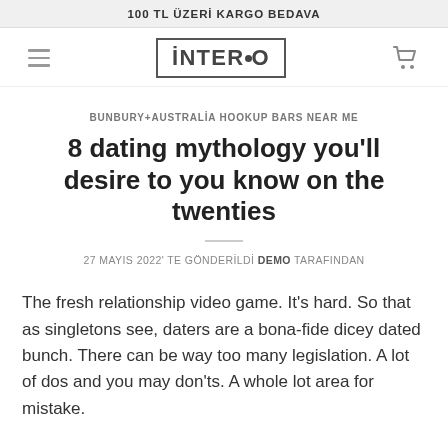100 TL ÜZERİ KARGO BEDAVA
[Figure (logo): INTERİO brand logo with border box and hamburger menu icon and cart icon in navigation bar]
BUNBURY+AUSTRALİA HOOKUP BARS NEAR ME
8 dating mythology you'll desire to you know on the twenties
27 MAYIS 2022' TE GÖNDERİLDİ DEMO TARAFINDAN
The fresh relationship video game. It's hard. So that as singletons see, daters are a bona-fide dicey dated bunch. There can be way too many legislation. A lot of dos and you may don'ts. A whole lot area for mistake.